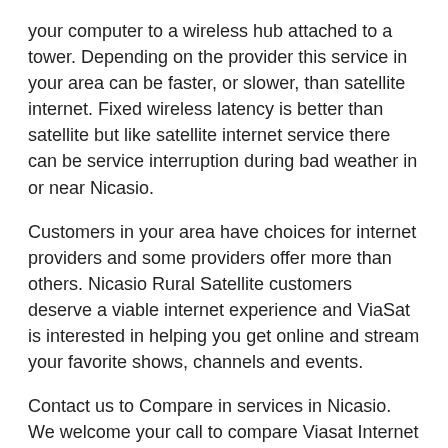your computer to a wireless hub attached to a tower. Depending on the provider this service in your area can be faster, or slower, than satellite internet. Fixed wireless latency is better than satellite but like satellite internet service there can be service interruption during bad weather in or near Nicasio.
Customers in your area have choices for internet providers and some providers offer more than others. Nicasio Rural Satellite customers deserve a viable internet experience and ViaSat is interested in helping you get online and stream your favorite shows, channels and events.
Contact us to Compare in services in Nicasio. We welcome your call to compare Viasat Internet with other providers in Nicasio, CA such as Dish Network Satellite Internet, Frontier Internet, Cox Internet, Wow Internet, Wave, Triad Wireless, Rise Broadband,